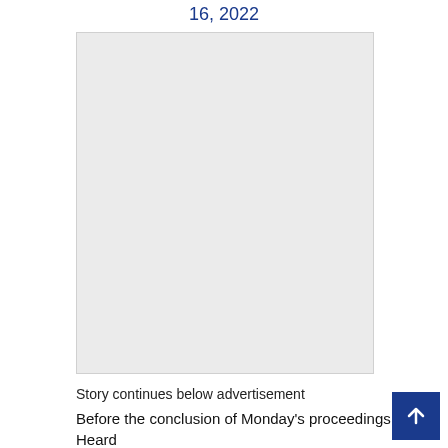16, 2022
[Figure (other): Grey advertisement placeholder box]
Story continues below advertisement
Before the conclusion of Monday's proceedings, Heard was pressed about what happened to the $7 million